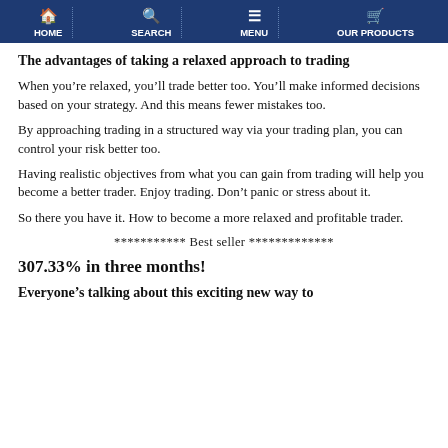HOME | SEARCH | MENU | OUR PRODUCTS
The advantages of taking a relaxed approach to trading
When you're relaxed, you'll trade better too. You'll make informed decisions based on your strategy. And this means fewer mistakes too.
By approaching trading in a structured way via your trading plan, you can control your risk better too.
Having realistic objectives from what you can gain from trading will help you become a better trader. Enjoy trading. Don't panic or stress about it.
So there you have it. How to become a more relaxed and profitable trader.
*********** Best seller *************
307.33% in three months!
Everyone's talking about this exciting new way to